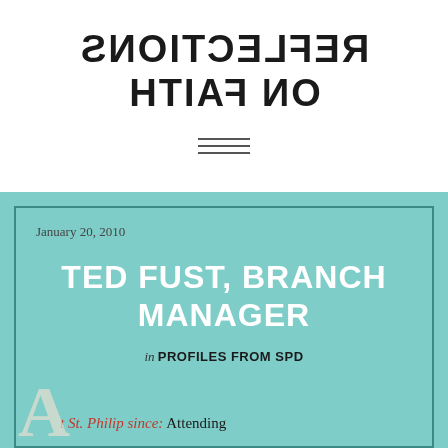REFLECTIONS ON FAITH (mirrored)
[Figure (other): Hamburger menu icon with three horizontal lines]
January 20, 2010
TED FUST, BRANCH MANAGER
in PROFILES FROM SPD
t St. Philip since: Attending